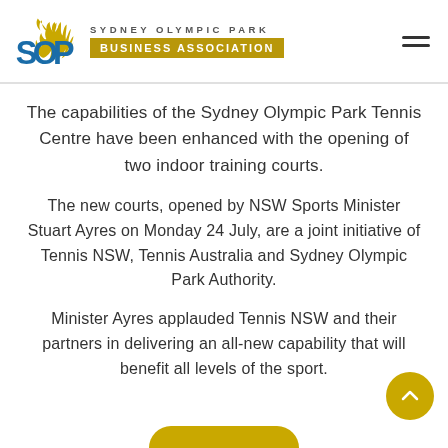[Figure (logo): Sydney Olympic Park Business Association logo with SOP letters and flame graphic]
The capabilities of the Sydney Olympic Park Tennis Centre have been enhanced with the opening of two indoor training courts.
The new courts, opened by NSW Sports Minister Stuart Ayres on Monday 24 July, are a joint initiative of Tennis NSW, Tennis Australia and Sydney Olympic Park Authority.
Minister Ayres applauded Tennis NSW and their partners in delivering an all-new capability that will benefit all levels of the sport.